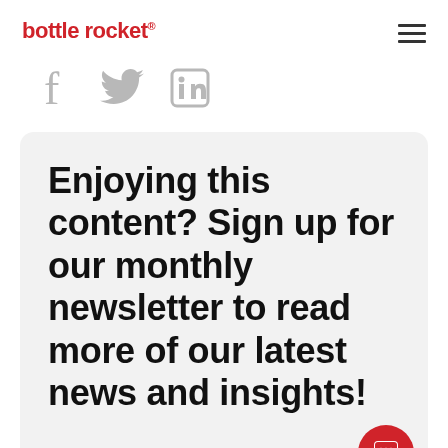bottle rocket®
[Figure (logo): Social media icons: Facebook (f), Twitter (bird), LinkedIn (in) in gray]
Enjoying this content? Sign up for our monthly newsletter to read more of our latest news and insights!